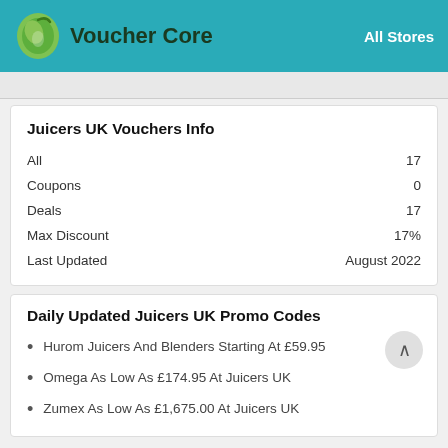Voucher Core — All Stores
Juicers UK Vouchers Info
|  |  |
| --- | --- |
| All | 17 |
| Coupons | 0 |
| Deals | 17 |
| Max Discount | 17% |
| Last Updated | August 2022 |
Daily Updated Juicers UK Promo Codes
Hurom Juicers And Blenders Starting At £59.95
Omega As Low As £174.95 At Juicers UK
Zumex As Low As £1,675.00 At Juicers UK